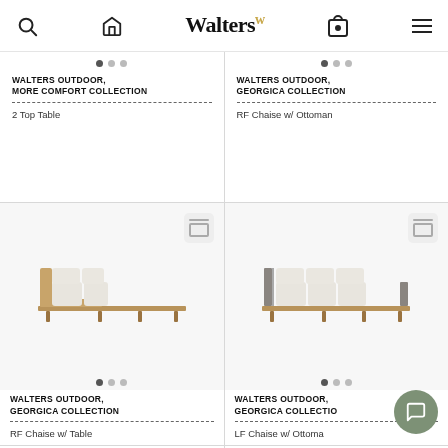Walters
[Figure (photo): Walters Outdoor, More Comfort Collection - 2 Top Table product card (top partially visible)]
WALTERS OUTDOOR, MORE COMFORT COLLECTION
2 Top Table
[Figure (photo): Walters Outdoor, Georgica Collection - RF Chaise w/ Ottoman product card (top partially visible)]
WALTERS OUTDOOR, GEORGICA COLLECTION
RF Chaise w/ Ottoman
[Figure (photo): Walters Outdoor, Georgica Collection - RF Chaise w/ Table outdoor sofa with wood frame]
WALTERS OUTDOOR, GEORGICA COLLECTION
RF Chaise w/ Table
[Figure (photo): Walters Outdoor, Georgica Collection - LF Chaise w/ Ottoman outdoor sofa with wood frame]
WALTERS OUTDOOR, GEORGICA COLLECTION
LF Chaise w/ Ottoman